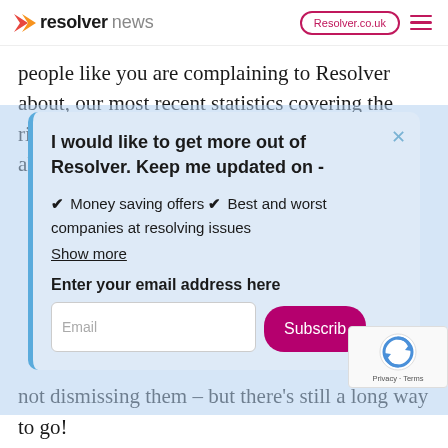resolver news | Resolver.co.uk
people like you are complaining to Resolver about, our most recent statistics covering the risers and fallers over the last six months are also out today. Find out
I would like to get more out of Resolver. Keep me updated on -
✔ Money saving offers ✔ Best and worst companies at resolving issues
Show more
Enter your email address here
Email
Subscribe
not dismissing them – but there's still a long way to go!